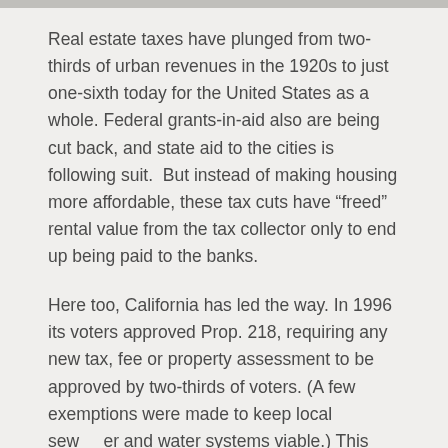Real estate taxes have plunged from two-thirds of urban revenues in the 1920s to just one-sixth today for the United States as a whole. Federal grants-in-aid also are being cut back, and state aid to the cities is following suit.  But instead of making housing more affordable, these tax cuts have “freed” rental value from the tax collector only to end up being paid to the banks.
Here too, California has led the way. In 1996 its voters approved Prop. 218, requiring any new tax, fee or property assessment to be approved by two-thirds of voters. (A few exemptions were made to keep local sew­er and water systems viable.) This stratagem “starves the beast,” with the “beast” being public infrastructure and social services. Police forces are being downsized and social programs are cut back. And as